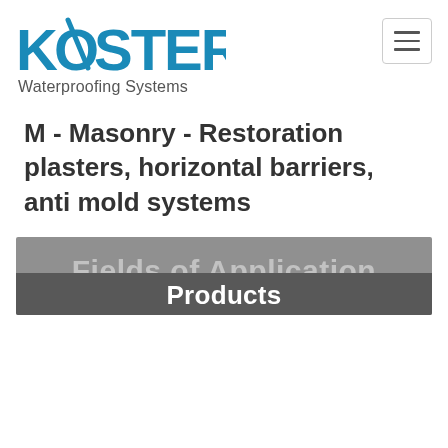[Figure (logo): KÖSTER Waterproofing Systems logo with blue stylized text and diagonal slash through the O]
M - Masonry - Restoration plasters, horizontal barriers, anti mold systems
[Figure (screenshot): Navigation tab banner showing 'Fields of Application' in lighter text overlaid by a darker 'Products' tab strip]